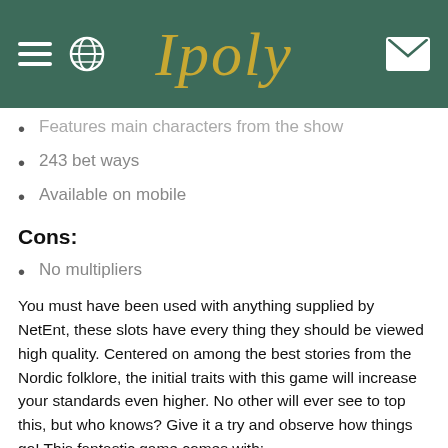Ipoly
Features main characters from the show
243 bet ways
Available on mobile
Cons:
No multipliers
You must have been used with anything supplied by NetEnt, these slots have every thing they should be viewed high quality. Centered on among the best stories from the Nordic folklore, the initial traits with this game will increase your standards even higher. No other will ever see to top this, but who knows? Give it a try and observe how things go! This fantastic game comes with:
OTHER GAMES
cleopatra
starburst
fluffy favourites
Lucky Larry's Lobsterman